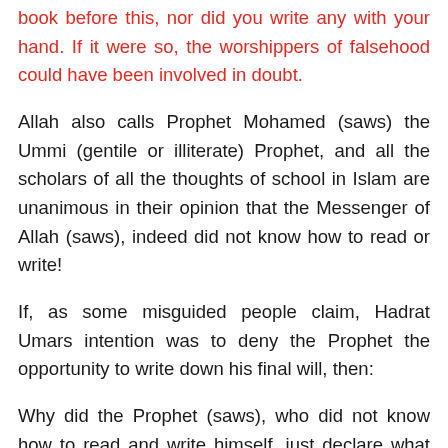book before this, nor did you write any with your hand. If it were so, the worshippers of falsehood could have been involved in doubt.
Allah also calls Prophet Mohamed (saws) the Ummi (gentile or illiterate) Prophet, and all the scholars of all the thoughts of school in Islam are unanimous in their opinion that the Messenger of Allah (saws), indeed did not know how to read or write!
If, as some misguided people claim, Hadrat Umars intention was to deny the Prophet the opportunity to write down his final will, then:
Why did the Prophet (saws), who did not know how to read and write himself, just declare what he